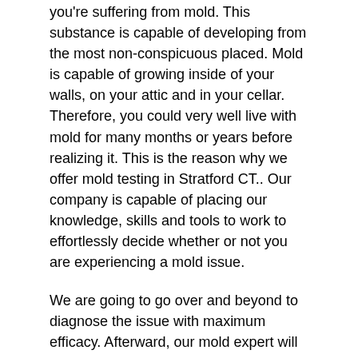you're suffering from mold. This substance is capable of developing from the most non-conspicuous placed. Mold is capable of growing inside of your walls, on your attic and in your cellar. Therefore, you could very well live with mold for many months or years before realizing it. This is the reason why we offer mold testing in Stratford CT.. Our company is capable of placing our knowledge, skills and tools to work to effortlessly decide whether or not you are experiencing a mold issue.
We are going to go over and beyond to diagnose the issue with maximum efficacy. Afterward, our mold expert will provide you with a rundown of your options.
We Are Insured
We understand that there's a risk involved in permitting a stranger to roam through your home. Just